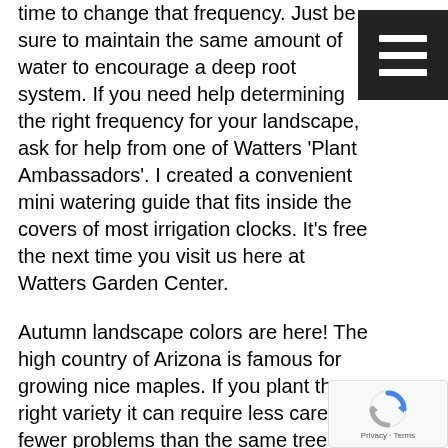time to change that frequency. Just be sure to maintain the same amount of water to encourage a deep root system. If you need help determining the right frequency for your landscape, ask for help from one of Watters 'Plant Ambassadors'. I created a convenient mini watering guide that fits inside the covers of most irrigation clocks. It's free the next time you visit us here at Watters Garden Center.
Autumn landscape colors are here! The high country of Arizona is famous for growing nice maples. If you plant the right variety it can require less care with fewer problems than the same tree in the New England states. Blaze Maple, Autumn Fantasy, Matador, and Celebration Maple are so
[Figure (other): Hamburger menu icon — three horizontal white lines on a dark/black square background]
[Figure (other): reCAPTCHA badge showing spinning arrows logo and 'Privacy - Terms' text]